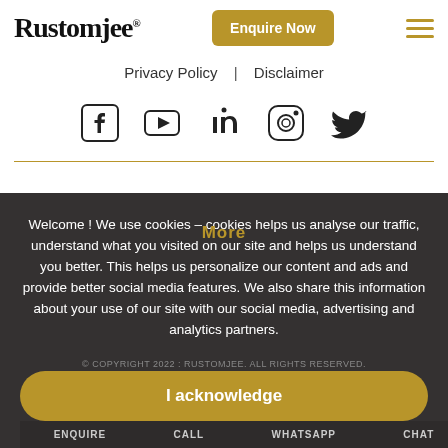Rustomjee® | Enquire Now | ☰
Privacy Policy | Disclaimer
[Figure (infographic): Social media icons: Facebook, YouTube, LinkedIn, Instagram, Twitter]
Welcome ! We use cookies – cookies helps us analyse our traffic, understand what you visited on our site and helps us understand you better. This helps us personalize our content and ads and provide better social media features. We also share this information about your use of our site with our social media, advertising and analytics partners.
I acknowledge
ENQUIRE  CALL  WHATSAPP  CHAT